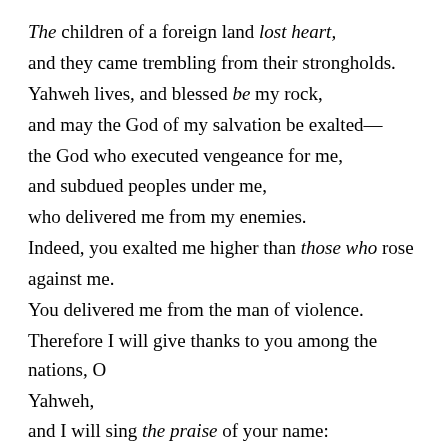The children of a foreign land lost heart,
and they came trembling from their strongholds.
Yahweh lives, and blessed be my rock,
and may the God of my salvation be exalted—
the God who executed vengeance for me,
and subdued peoples under me,
who delivered me from my enemies.
Indeed, you exalted me higher than those who rose against me.
You delivered me from the man of violence.
Therefore I will give thanks to you among the nations, O Yahweh,
and I will sing the praise of your name:
the one who makes great victories for his king,